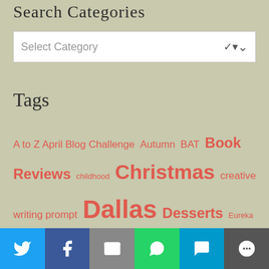Search Categories
[Figure (screenshot): Select Category dropdown input box with chevron arrow]
Tags
A to Z April Blog Challenge  Autumn  BAT  Book Reviews  childhood  Christmas  creative writing prompt  Dallas  Desserts  Eureka Springs  Fall  Fayetteville  Food  Gracie Lee  Halloween  home  humor  Johnson Family  Keiser  Lake Norfork  Lucy and Annabelle  Mississippi
[Figure (infographic): Social sharing bar with Twitter, Facebook, Email, WhatsApp, SMS, More buttons]